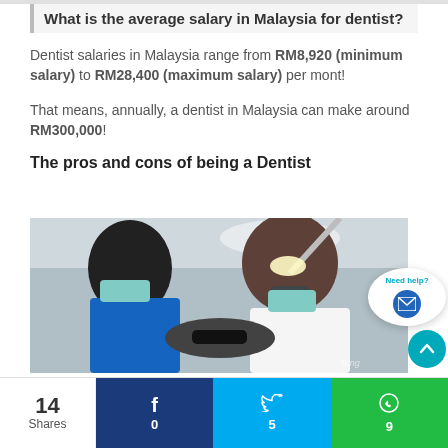What is the average salary in Malaysia for dentist?
Dentist salaries in Malaysia range from RM8,920 (minimum salary) to RM28,400 (maximum salary) per mont!
That means, annually, a dentist in Malaysia can make around RM300,000!
The pros and cons of being a Dentist
[Figure (photo): Two dental professionals wearing hijabs and surgical masks treating a patient in a dental chair]
14 Shares | Facebook: 0 | Twitter: 5 | WhatsApp: 9